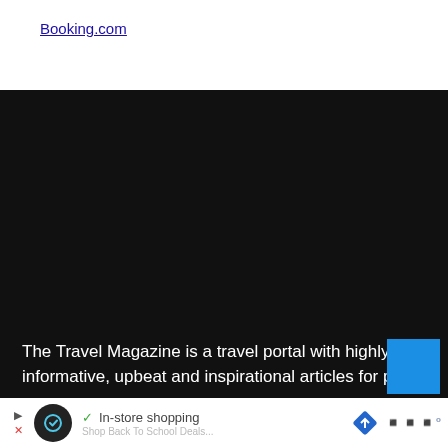Booking.com
[Figure (photo): Large dark/black area representing a video or image placeholder on the webpage]
The Travel Magazine is a travel portal with highly informative, upbeat and inspirational articles for people wh...
[Figure (screenshot): Advertisement bar at bottom with circle logo, in-store shopping text with checkmark, diamond navigation icon, and wave icon]